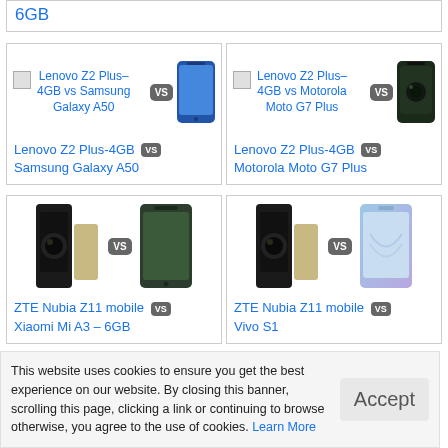6GB
[Figure (screenshot): Lenovo Z2 Plus-4GB vs Samsung Galaxy A50 comparison card with phone image]
[Figure (screenshot): Lenovo Z2 Plus-4GB vs Motorola Moto G7 Plus comparison card with phone image]
Lenovo Z2 Plus-4GB vs Samsung Galaxy A50
Lenovo Z2 Plus-4GB vs Motorola Moto G7 Plus
[Figure (screenshot): ZTE Nubia Z11 mobile vs Xiaomi Mi A3 - 6GB phone comparison images]
[Figure (screenshot): ZTE Nubia Z11 mobile vs Vivo S1 phone comparison images]
ZTE Nubia Z11 mobile vs Xiaomi Mi A3 – 6GB
ZTE Nubia Z11 mobile vs Vivo S1
This website uses cookies to ensure you get the best experience on our website. By closing this banner, scrolling this page, clicking a link or continuing to browse otherwise, you agree to the use of cookies. Learn More